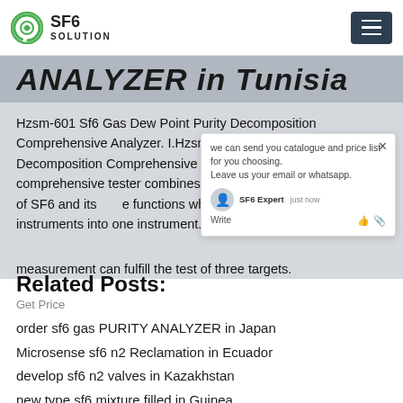SF6 SOLUTION
ANALYZER in Tunisia
Hzsm-601 Sf6 Gas Dew Point Purity Decomposition Comprehensive Analyzer. I.Hzsm-601 Sf6 Gas Dew Point Purity Decomposition Comprehensive Analyzer Description: comprehensive tester combines the humidity of SF6, purity of SF6 and its functions which were originally in instruments into one instrument. One measurement can fulfill the test of three targets.
[Figure (screenshot): Chat popup overlay with message: we can send you catalogue and price list for you choosing. Leave us your email or whatsapp. SF6 Expert just now. Write with thumb and paperclip icons.]
Related Posts:
Get Price
order sf6 gas PURITY ANALYZER in Japan
Microsense sf6 n2 Reclamation in Ecuador
develop sf6 n2 valves in Kazakhstan
new type sf6 mixture filled in Guinea